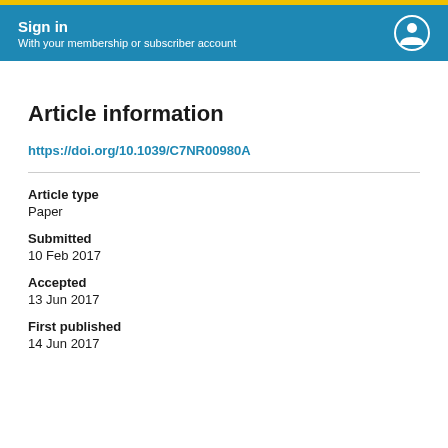Sign in
With your membership or subscriber account
Article information
https://doi.org/10.1039/C7NR00980A
Article type
Paper
Submitted
10 Feb 2017
Accepted
13 Jun 2017
First published
14 Jun 2017